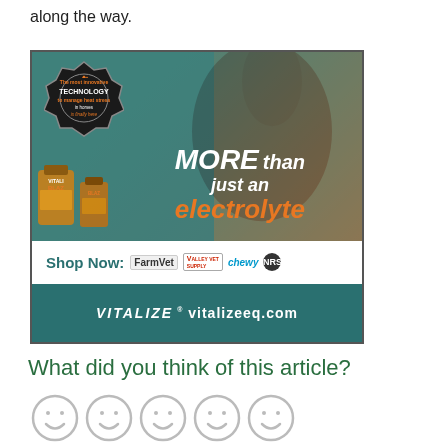along the way.
[Figure (illustration): Advertisement for Vitalize Blazin electrolyte product for horses. Shows a dark horse, product bottles, badge saying 'The most innovative TECHNOLOGY to manage heat stress in horses is finally here', main text 'MORE than just an electrolyte', shop now bar with FarmVet, Valley Vet Supply, chewy, NRS logos, and footer with VITALIZE vitalizeeq.com]
What did you think of this article?
[Figure (other): Five smiley face emoji rating icons, light gray outlines]